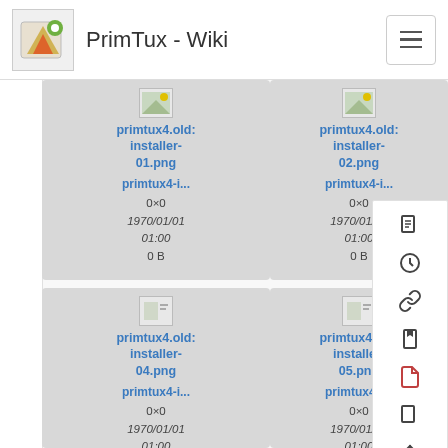PrimTux - Wiki
[Figure (screenshot): Grid of image file thumbnails from PrimTux wiki media manager showing installer PNG files with metadata]
primtux4.old:installer-01.png
primtux4-i...
0×0
1970/01/01 01:00
0 B
primtux4.old:installer-02.png
primtux4-i...
0×0
1970/01/01 01:00
0 B
primtux4.old:installer-04.png
primtux4-i...
0×0
1970/01/01 01:00
primtux4.old:installer-05.png
primtux4-i...
0×0
1970/01/01 01:00